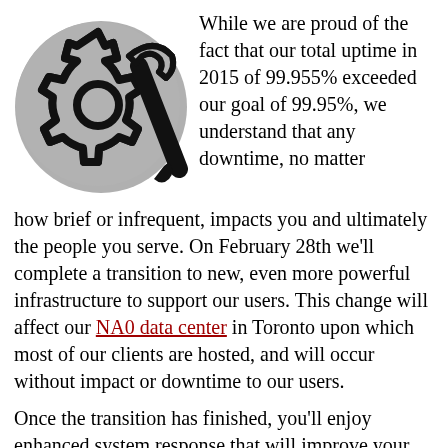[Figure (illustration): A circular gray icon containing a gear/cog and a wrench symbol in black and white outline style]
While we are proud of the fact that our total uptime in 2015 of 99.955% exceeded our goal of 99.95%, we understand that any downtime, no matter how brief or infrequent, impacts you and ultimately the people you serve. On February 28th we'll complete a transition to new, even more powerful infrastructure to support our users. This change will affect our NA0 data center in Toronto upon which most of our clients are hosted, and will occur without impact or downtime to our users.
Once the transition has finished, you'll enjoy enhanced system response that will improve your workflow. The redundancies included in this upgrade will drastically reduce already